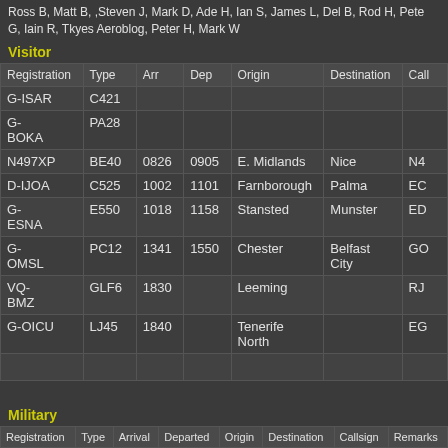Ross B, Matt B, ,Steven J, Mark D, Ade H, Ian S, James L, Del B, Rod H, Pete G, Iain R, Tkyes Aeroblog, Peter H, Mark W
Visitor
| Registration | Type | Arr | Dep | Origin | Destination | Call |
| --- | --- | --- | --- | --- | --- | --- |
| G-ISAR | C421 |  |  |  |  |  |
| G-BOKA | PA28 |  |  |  |  |  |
| N497XP | BE40 | 0826 | 0905 | E. Midlands | Nice | N4 |
| D-IJOA | C525 | 1002 | 1101 | Farnborough | Palma | EC |
| G-ESNA | E550 | 1018 | 1158 | Stansted | Munster | ED |
| G-OMSL | PC12 | 1341 | 1550 | Chester | Belfast City | GO |
| VQ-BMZ | GLF6 | 1830 |  | Leeming |  | RJ |
| G-OICU | LJ45 | 1840 |  | Tenerife North |  | EG |
|  |  |  |  |  |  |  |
Military
| Registration | Type | Arrival | Departed | Origin | Destination | Callsign | Remarks |
| --- | --- | --- | --- | --- | --- | --- | --- |